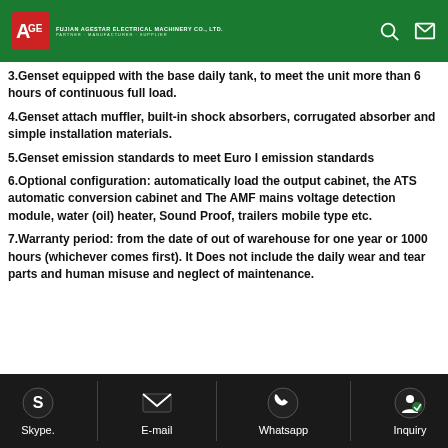FUJIAN AGESTAR ELECTRICAL MACHINERY CO., LTD. PARTNER · MANUFACTURER · SUPPLIER
3.Genset equipped with the base daily tank, to meet the unit more than 6 hours of continuous full load.
4.Genset attach muffler, built-in shock absorbers, corrugated absorber and simple installation materials.
5.Genset emission standards to meet Euro I emission standards
6.Optional configuration: automatically load the output cabinet, the ATS automatic conversion cabinet and The AMF mains voltage detection module, water (oil) heater, Sound Proof, trailers mobile type etc.
7.Warranty period: from the date of out of warehouse for one year or 1000 hours (whichever comes first). It Does not include the daily wear and tear parts and human misuse and neglect of maintenance.
|  | Specification 50HZ | General specifications | Alterna... |
| --- | --- | --- | --- |
| ASG-LOVOL Series:50HZ |  |  |  |
Skype. | E-mail | Whatsapp | Inquiry